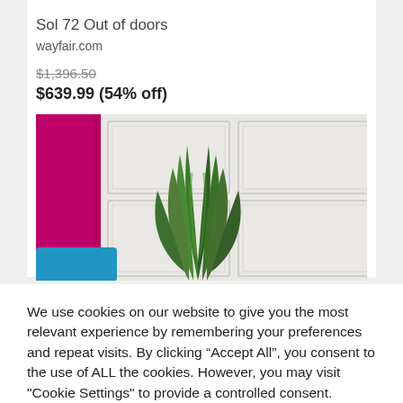Sol 72 Out of doors
wayfair.com
$1,396.50 (strikethrough) $639.99 (54% off)
[Figure (photo): Product photo showing a purple/magenta chair on the left side, a large green snake plant (sansevieria) in the center, and white paneled doors/wainscoting in the background. A blue seat cushion is partially visible at bottom left.]
We use cookies on our website to give you the most relevant experience by remembering your preferences and repeat visits. By clicking “Accept All”, you consent to the use of ALL the cookies. However, you may visit "Cookie Settings" to provide a controlled consent.
Cookie Settings | Accept All